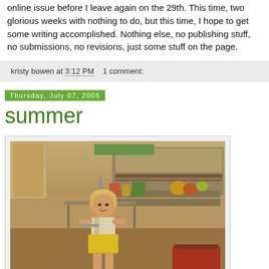online issue before I leave again on the 29th. This time, two glorious weeks with nothing to do, but this time, I hope to get some writing accomplished. Nothing else, no publishing stuff, no submissions, no revisions, just some stuff on the page.
kristy bowen at 3:12 PM   1 comment:
Thursday, July 07, 2005
summer
[Figure (photo): Vintage photograph of a young blonde child in yellow shorts standing outdoors near a camper/trailer, holding a broom or pole, with shelves and items visible in the background. Warm sepia/orange tones typical of 1970s photography.]